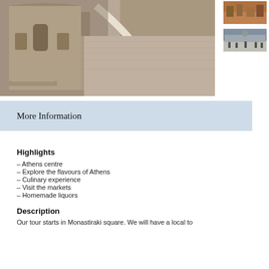[Figure (photo): Aerial view of a cobblestone square with people walking, a curved white-bordered path, and a stone building with arched windows]
[Figure (photo): Small thumbnail of a rooftop cityscape view]
[Figure (photo): Small thumbnail of an outdoor market or square with crowds]
More Information
Highlights
– Athens centre
– Explore the flavours of Athens
– Culinary experience
– Visit the markets
– Homemade liquors
Description
Our tour starts in Monastiraki square. We will have a local to